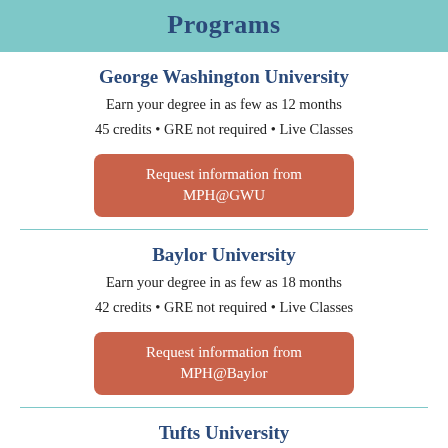Programs
George Washington University
Earn your degree in as few as 12 months
45 credits • GRE not required • Live Classes
Request information from MPH@GWU
Baylor University
Earn your degree in as few as 18 months
42 credits • GRE not required • Live Classes
Request information from MPH@Baylor
Tufts University
Earn your degree in as few as 20 months